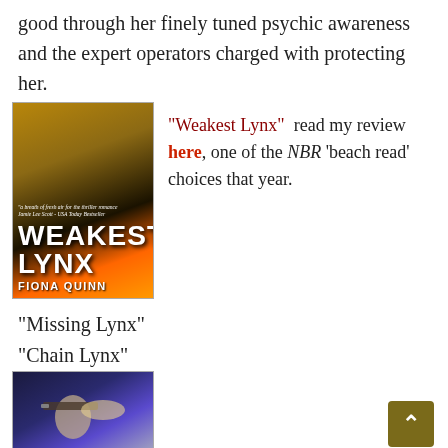good through her finely tuned psychic awareness and the expert operators charged with protecting her.
[Figure (photo): Book cover of 'Weakest Lynx' by Fiona Quinn, showing a woman with blonde hair against a fiery background, with text 'a breath of fresh air for the thriller romance - Jamie Lee Scott - USA Today Bestseller']
“Weakest Lynx”  read my review here, one of the NBR ‘beach read’ choices that year.
“Missing Lynx”
“Chain Lynx”
[Figure (photo): Book cover showing a figure with a weapon, blonde hair, in an action scene with blue/purple tones]